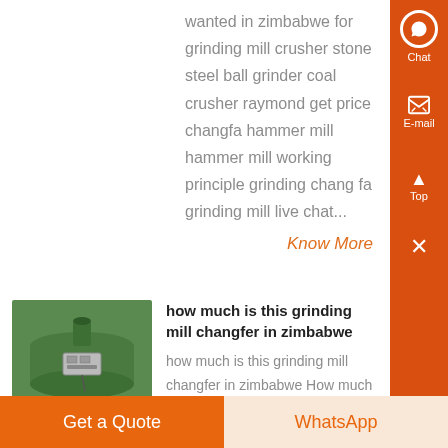wanted in zimbabwe for grinding mill crusher stone steel ball grinder coal crusher raymond get price changfa hammer mill hammer mill working principle grinding chang fa grinding mill live chat...
Know More
[Figure (photo): A green industrial grinding mill machine with a control panel/switch box mounted on the side]
how much is this grinding mill changfer in zimbabwe
how much is this grinding mill changfer in zimbabwe How much is a changfa grinding mill